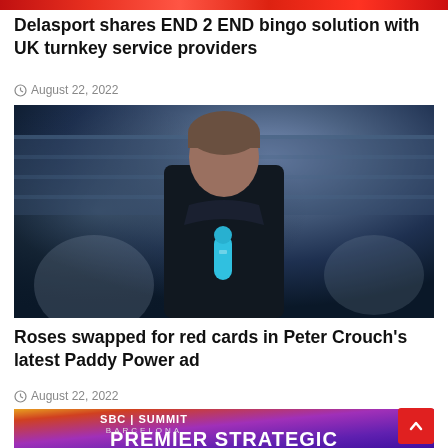[Figure (photo): Red-toned banner image strip at top of page]
Delasport shares END 2 END bingo solution with UK turnkey service providers
August 22, 2022
[Figure (photo): Photo of Peter Crouch, a man with short brown hair wearing a dark jacket, holding a blue microphone, standing in front of a stadium background]
Roses swapped for red cards in Peter Crouch's latest Paddy Power ad
August 22, 2022
[Figure (photo): SBC Summit Barcelona promotional banner with purple/orange gradient background showing 'SBC SUMMIT BARCELONA' and 'PREMIER STRATEGIC' text]